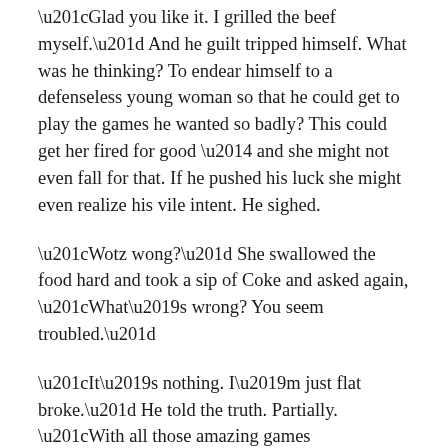“Glad you like it. I grilled the beef myself.” And he guilt tripped himself. What was he thinking? To endear himself to a defenseless young woman so that he could get to play the games he wanted so badly? This could get her fired for good — and she might not even fall for that. If he pushed his luck she might even realize his vile intent. He sighed.
“Wotz wong?” She swallowed the food hard and took a sip of Coke and asked again, “What’s wrong? You seem troubled.”
“It’s nothing. I’m just flat broke.” He told the truth. Partially. “With all those amazing games you’ve got here, there’s nothing I can really afford.”
“Sorry to hear that. Wait, what?” She was astonished